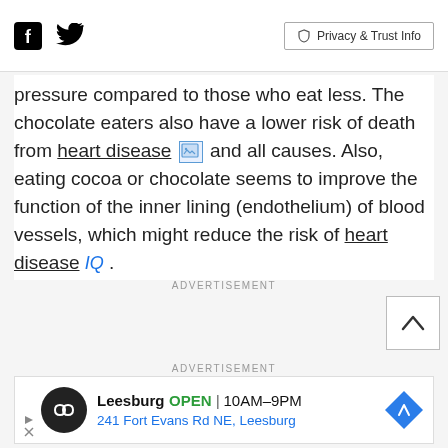Facebook | Twitter | Privacy & Trust Info
pressure compared to those who eat less. The chocolate eaters also have a lower risk of death from heart disease and all causes. Also, eating cocoa or chocolate seems to improve the function of the inner lining (endothelium) of blood vessels, which might reduce the risk of heart disease IQ .
ADVERTISEMENT
ADVERTISEMENT
[Figure (other): Advertisement banner: Leesburg OPEN 10AM-9PM, 241 Fort Evans Rd NE, Leesburg with logo and map icon]